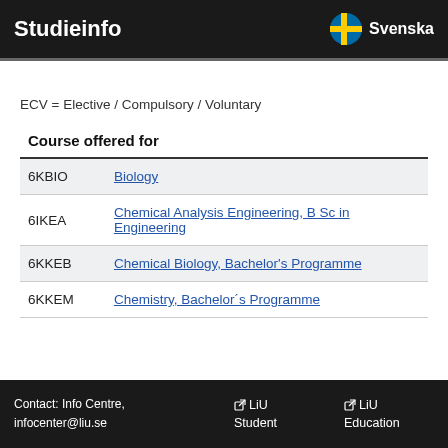Studieinfo  Svenska
ECV = Elective / Compulsory / Voluntary
| Course offered for |
| --- |
| 6KBIO | Biology |
| 6IKEA | Chemical Analysis Engineering, B Sc in Engineering |
| 6KKEB | Chemical Biology, Bachelor's Programme |
| 6KKEM | Chemistry, Bachelor´s Programme |
Contact: Info Centre, infocenter@liu.se   LiU Student   LiU Education